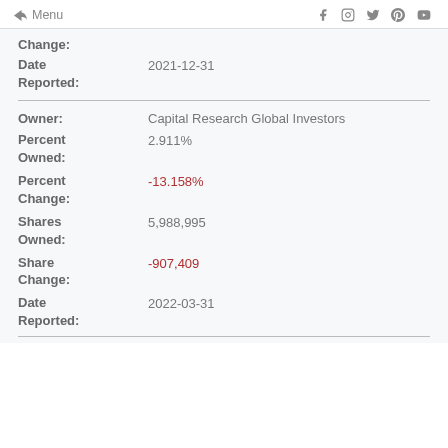← Menu  f  Instagram  Twitter  Pinterest  YouTube
Change:
Date Reported:  2021-12-31
Owner:  Capital Research Global Investors
Percent Owned:  2.911%
Percent Change:  -13.158%
Shares Owned:  5,988,995
Share Change:  -907,409
Date Reported:  2022-03-31